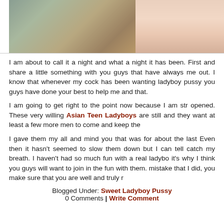[Figure (photo): Two cropped photos side by side at the top of the page]
I am about to call it a night and what a night it has been. First and share a little something with you guys that have always me out. I know that whenever my cock has been wanting ladyboy pussy you guys have done your best to help me and that.
I am going to get right to the point now because I am str opened. These very willing Asian Teen Ladyboys are still and they want at least a few more men to come and keep the
I gave them my all and mind you that was for about the last Even then it hasn't seemed to slow them down but I can tell catch my breath. I haven't had so much fun with a real ladybo it's why I think you guys will want to join in the fun with them. mistake that I did, you make sure that you are well and truly r
Blogged Under: Sweet Ladyboy Pussy 0 Comments | Write Comment